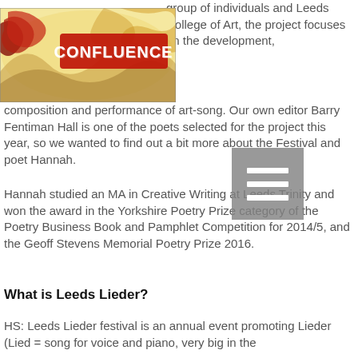[Figure (logo): Confluence literary magazine logo — decorative banner with red text 'CONFLUENCE' on illustrated background with flowing hair and abstract imagery]
group of individuals and Leeds College of Art, the project focuses on the development, composition and performance of art-song. Our own editor Barry Fentiman Hall is one of the poets selected for the project this year, so we wanted to find out a bit more about the Festival and poet Hannah.
Hannah studied an MA in Creative Writing at Leeds Trinity and won the award in the Yorkshire Poetry Prize category of the Poetry Business Book and Pamphlet Competition for 2014/5, and the Geoff Stevens Memorial Poetry Prize 2016.
What is Leeds Lieder?
HS: Leeds Lieder festival is an annual event promoting Lieder (Lied = song for voice and piano, very big in the